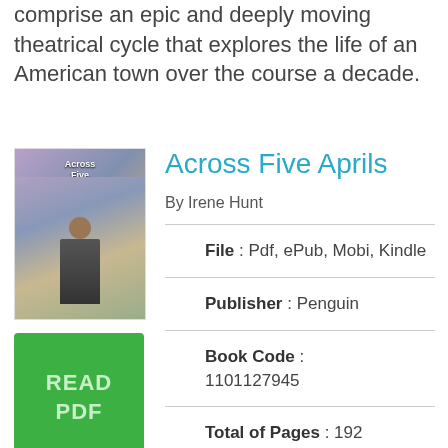comprise an epic and deeply moving theatrical cycle that explores the life of an American town over the course a decade.
Across Five Aprils
By Irene Hunt
[Figure (illustration): Book cover of Across Five Aprils showing a figure with a purple/blue illustrated background]
[Figure (other): Green READ PDF button]
File : Pdf, ePub, Mobi, Kindle
Publisher : Penguin
Book Code : 1101127945
Total of Pages : 192